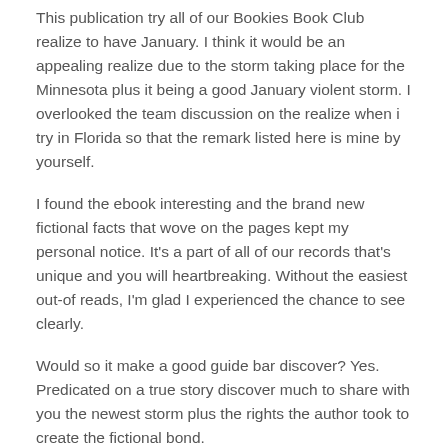This publication try all of our Bookies Book Club realize to have January. I think it would be an appealing realize due to the storm taking place for the Minnesota plus it being a good January violent storm. I overlooked the team discussion on the realize when i try in Florida so that the remark listed here is mine by yourself.
I found the ebook interesting and the brand new fictional facts that wove on the pages kept my personal notice. It's a part of all of our records that's unique and you will heartbreaking. Without the easiest out-of reads, I'm glad I experienced the chance to see clearly.
Would so it make a good guide bar discover? Yes. Predicated on a true story discover much to share with you the newest storm plus the rights the author took to create the fictional bond.